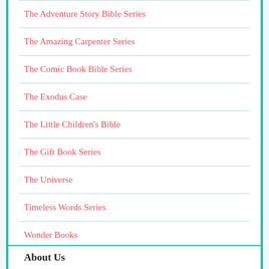The Adventure Story Bible Series
The Amazing Carpenter Series
The Comic Book Bible Series
The Exodus Case
The Little Children's Bible
The Gift Book Series
The Universe
Timeless Words Series
Wonder Books
Words of Wisdom
About Us